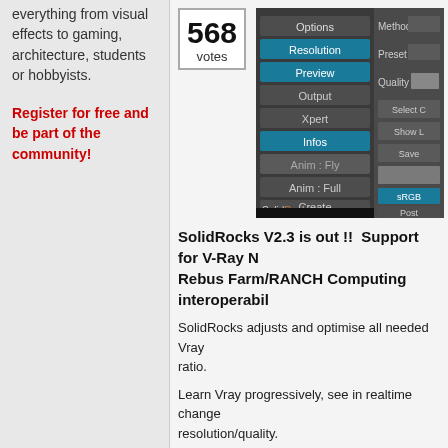everything from visual effects to gaming, architecture, students or hobbyists.
Register for free and be part of the community!
[Figure (screenshot): Screenshot of SolidRocks V-Ray plugin UI panel showing options: Resolution, Preview, Output, Xpert, Infos, Anim:Fly, Anim:Full, Create, SolidRocks branding, sRGB, Post, with Method, Preset, Quality, Select, Show L, Save controls]
568 votes
SolidRocks V2.3 is out !!  Support for V-Ray N... Rebus Farm/RANCH Computing interoperabil...
SolidRocks adjusts and optimise all needed Vray... ratio.
Learn Vray progressively, see in realtime change... resolution/quality.
75 comments
read more